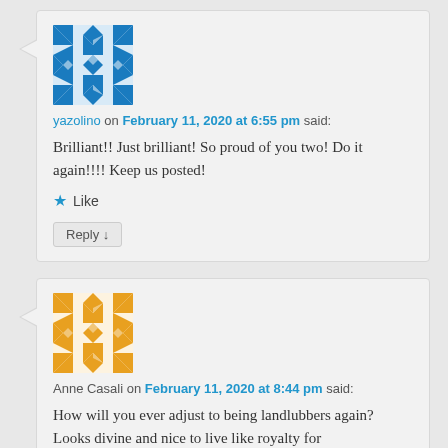[Figure (illustration): Blue geometric quilt-pattern avatar for user yazolino]
yazolino on February 11, 2020 at 6:55 pm said:
Brilliant!! Just brilliant! So proud of you two! Do it again!!!! Keep us posted!
★ Like
Reply ↓
[Figure (illustration): Orange/yellow geometric quilt-pattern avatar for user Anne Casali]
Anne Casali on February 11, 2020 at 8:44 pm said:
How will you ever adjust to being landlubbers again? Looks divine and nice to live like royalty for